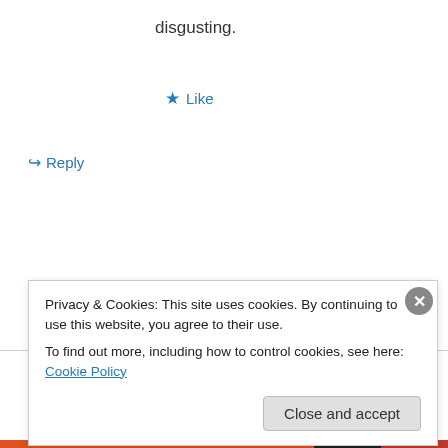disgusting.
★ Like
↪ Reply
Advertisements
Jettboy on May 5, 2012 at 7:11 am
👍 0 👎 0 ℹ Rate This
Privacy & Cookies: This site uses cookies. By continuing to use this website, you agree to their use.
To find out more, including how to control cookies, see here: Cookie Policy
Close and accept